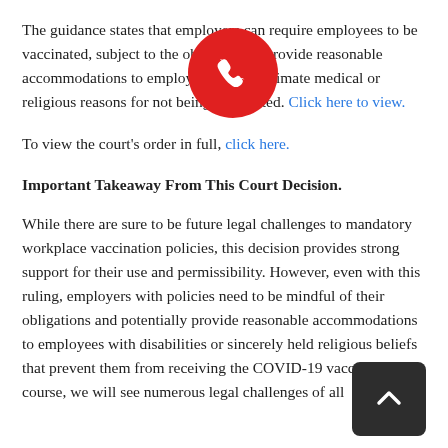The guidance states that employers can require employees to be vaccinated, subject to the obligation to provide reasonable accommodations to employees with legitimate medical or religious reasons for not being vaccinated. Click here to view.
To view the court's order in full, click here.
Important Takeaway From This Court Decision.
While there are sure to be future legal challenges to mandatory workplace vaccination policies, this decision provides strong support for their use and permissibility. However, even with this ruling, employers with policies need to be mindful of their obligations and potentially provide reasonable accommodations to employees with disabilities or sincerely held religious beliefs that prevent them from receiving the COVID-19 vaccine. Of course, we will see numerous legal challenges of all